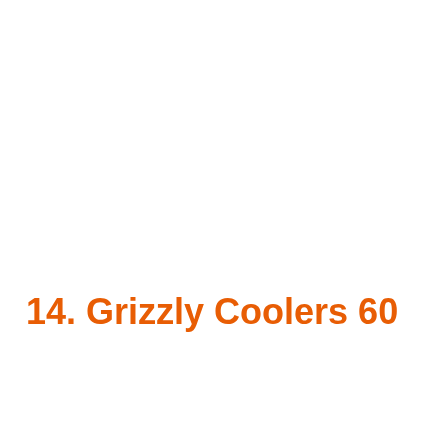14. Grizzly Coolers 60
[Figure (infographic): Orange banner advertisement: 'Help send medical aid to Ukraine >>' with Direct Relief logo on the right]